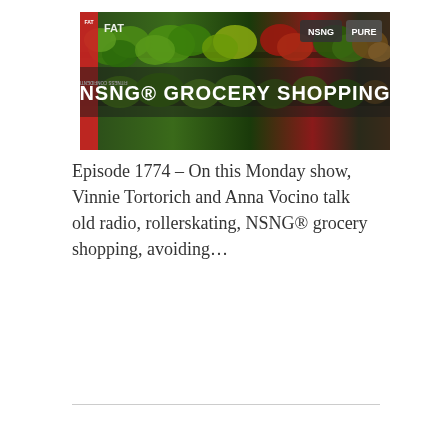[Figure (photo): Podcast thumbnail image showing a grocery store produce display with colorful vegetables. Text overlay reads 'NSNG® GROCERY SHOPPING'. Small logos visible in upper corners including 'FAT', 'FITNESS CONFIDENTIAL PODCAST', 'NSNG', and 'PURE'.]
Episode 1774 – On this Monday show, Vinnie Tortorich and Anna Vocino talk old radio, rollerskating, NSNG® grocery shopping, avoiding...
Read On & Hear The Podcast →